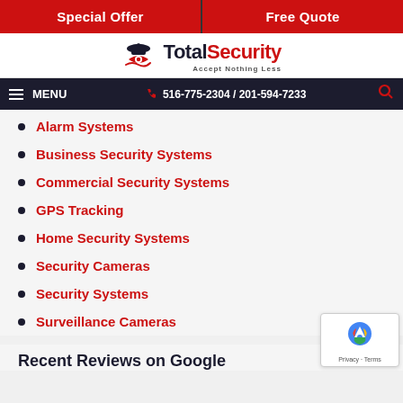Special Offer | Free Quote
[Figure (logo): Total Security logo with eye graphic and tagline 'Accept Nothing Less']
MENU | 516-775-2304 / 201-594-7233
Alarm Systems
Business Security Systems
Commercial Security Systems
GPS Tracking
Home Security Systems
Security Cameras
Security Systems
Surveillance Cameras
Recent Reviews on Google